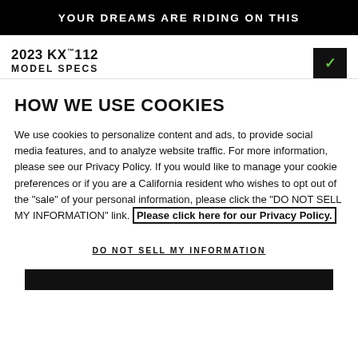YOUR DREAMS ARE RIDING ON THIS
2023 KX™112
MODEL SPECS
HOW WE USE COOKIES
We use cookies to personalize content and ads, to provide social media features, and to analyze website traffic. For more information, please see our Privacy Policy. If you would like to manage your cookie preferences or if you are a California resident who wishes to opt out of the "sale" of your personal information, please click the "DO NOT SELL MY INFORMATION" link. Please click here for our Privacy Policy.
DO NOT SELL MY INFORMATION